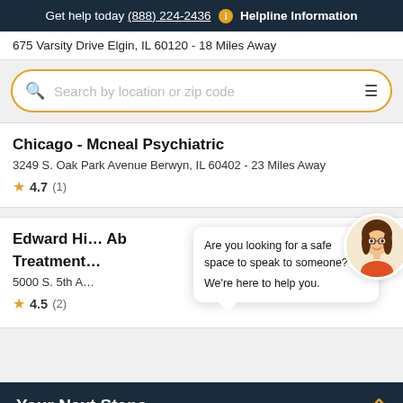Get help today (888) 224-2436  i  Helpline Information
675 Varsity Drive Elgin, IL 60120 - 18 Miles Away
Search by location or zip code
Chicago - Mcneal Psychiatric
3249 S. Oak Park Avenue Berwyn, IL 60402 - 23 Miles Away
★ 4.7 (1)
Edward Hi... Abuse Treatment...
5000 S. 5th A...
★ 4.5 (2)
Are you looking for a safe space to speak to someone? We're here to help you.
Your Next Steps